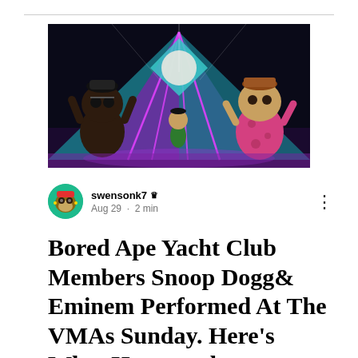[Figure (photo): Stage performance with animated ape characters (Bored Ape Yacht Club NFTs) on a dark stage with neon purple and teal geometric lighting, depicting Snoop Dogg and Eminem's VMA performance.]
swensonk7 👑 Aug 29 · 2 min
Bored Ape Yacht Club Members Snoop Dogg& Eminem Performed At The VMAs Sunday. Here's What Happened: